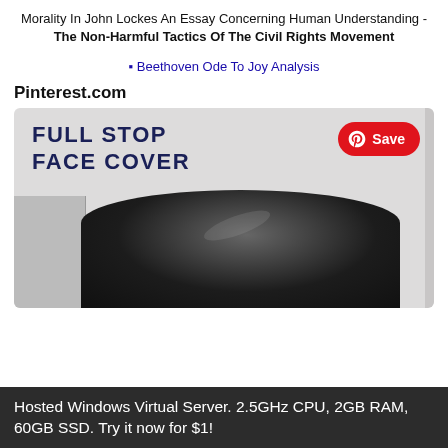Morality In John Lockes An Essay Concerning Human Understanding - The Non-Harmful Tactics Of The Civil Rights Movement
Beethoven Ode To Joy Analysis
Pinterest.com
[Figure (screenshot): Pinterest product pin showing 'FULL STOP FACE COVER' text with a Save button and a black face cover product image below]
Hosted Windows Virtual Server. 2.5GHz CPU, 2GB RAM, 60GB SSD. Try it now for $1!